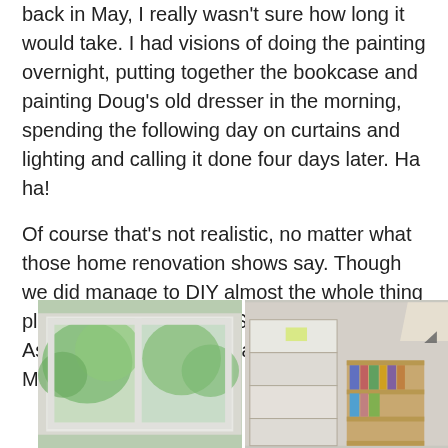back in May, I really wasn't sure how long it would take. I had visions of doing the painting overnight, putting together the bookcase and painting Doug's old dresser in the morning, spending the following day on curtains and lighting and calling it done four days later. Ha ha!
Of course that's not realistic, no matter what those home renovation shows say. Though we did manage to DIY almost the whole thing plus we spent less than $500!
As a reminder, here's what we started with. Messy, huh?
[Figure (photo): Two side-by-side photos of a messy room before renovation. Left photo shows windows with a view of trees outside. Right photo shows stacked cardboard boxes and a bookshelf in a cluttered room.]